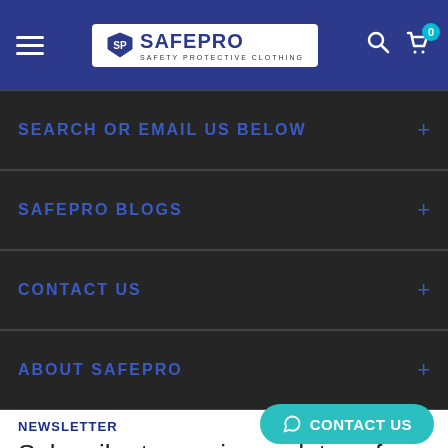[Figure (logo): SafePro Safety Protective Clothing logo in white box on dark blue navigation header bar with hamburger menu, search icon, and cart icon with badge showing 0]
SEARCH OR EMAIL US BELOW
SAFEPRO BLOGS
CONTACT US
ABOUT SAFEPRO
NEWSLETTER
Subscribe to receive updates of new products and discounted pro...